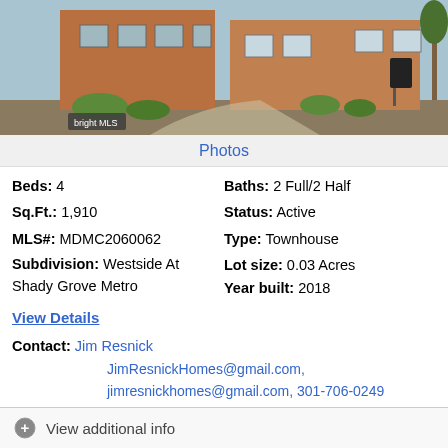[Figure (photo): Exterior photo of brick townhouse building with landscaping, bright MLS watermark in bottom left]
Photos
Beds: 4
Sq.Ft.: 1,910
MLS#: MDMC2060062
Subdivision: Westside At Shady Grove Metro
Baths: 2 Full/2 Half
Status: Active
Type: Townhouse
Lot size: 0.03 Acres
Year built: 2018
View Details
Contact: Jim Resnick
JimResnickHomes@gmail.com,
jimresnickhomes@gmail.com, 301-706-0249
Courtesy: RE/MAX Realty Services
Request Info
Save Property
View additional info